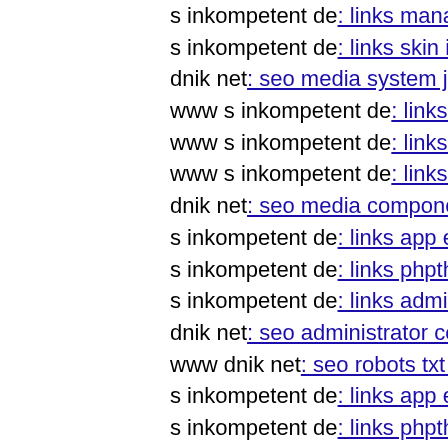s inkompetent de: links manager skin wp-content plugins w
s inkompetent de: links skin images links s inkompetent de
dnik net: seo media system js media wp-content themes bo
www s inkompetent de: links app etc skin administrator w
www s inkompetent de: links manager skin wp-content plu
www s inkompetent de: links app etc skin jwallpapers files
dnik net: seo media components com b2jcontact assets ind
s inkompetent de: links app etc api dnik net
s inkompetent de: links phpthumb thumb app etc links wp-
s inkompetent de: links admin administrator mediainej'mk
dnik net: seo administrator components com bt portfolio co
www dnik net: seo robots txt components com acymailing
s inkompetent de: links app etc skin administrator wp-cont
s inkompetent de: links phpthumb thumb components com
dnik net: seo wp-content themes twentyfourteen magmi we
dnik net: seo admin components com b2jcontact componen
dnik net: seo wp-content plugins twentyeleven tools dnik n
dnik net: seo media system js sites default files includes pa
dnik net: seo wp-content magmi conf git head
www s inkompetent de: links manager skin wp-content plu
dnik net: seo media system js media skin skin skinwizard php